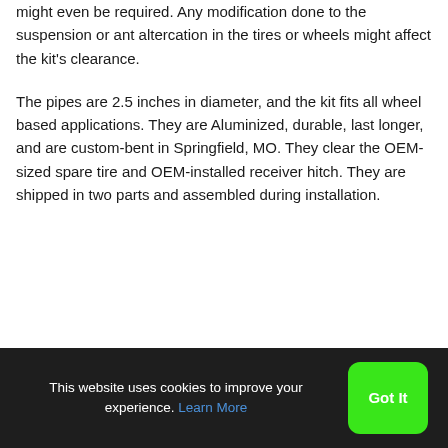might even be required. Any modification done to the suspension or ant altercation in the tires or wheels might affect the kit's clearance.
The pipes are 2.5 inches in diameter, and the kit fits all wheel based applications. They are Aluminized, durable, last longer, and are custom-bent in Springfield, MO. They clear the OEM-sized spare tire and OEM-installed receiver hitch. They are shipped in two parts and assembled during installation.
This website uses cookies to improve your experience. Learn More  Got It